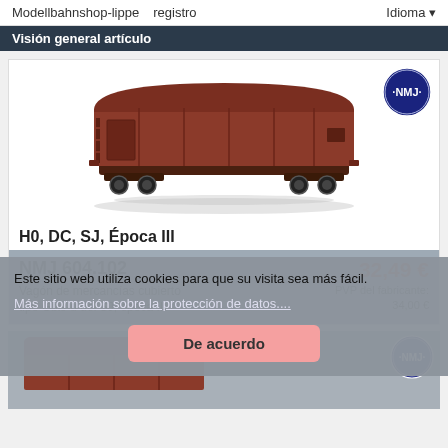Modellbahnshop-lippe   registro   Idioma
Visión general artículo
[Figure (photo): Model train freight wagon (covered goods wagon), brown/dark red color, H0 scale, with NMJ logo badge in top right corner]
H0, DC, SJ, Época III
NMJ 604.102
Vagón de mercancías cubierto tipo Gbis-u del SJ, época III
32,49 €
PVP del fabricante: 34,00 €
Este sitio web utiliza cookies para que su visita sea más fácil.
Más información sobre la protección de datos....
De acuerdo
[Figure (photo): Partial view of second model train freight wagon (covered goods wagon), brown/dark red color, H0 scale, with NMJ logo badge]